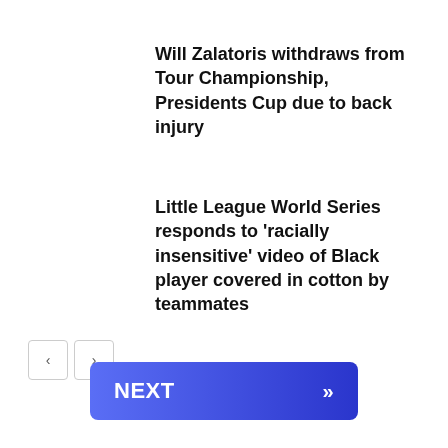Will Zalatoris withdraws from Tour Championship, Presidents Cup due to back injury
Little League World Series responds to 'racially insensitive' video of Black player covered in cotton by teammates
[Figure (other): Navigation previous and next arrow buttons (left and right chevrons) in bordered square buttons]
[Figure (other): NEXT button with double right chevron, blue gradient background]